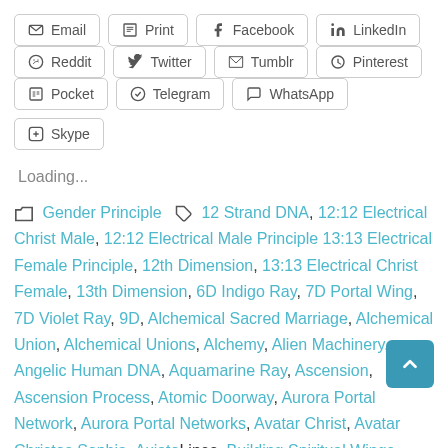Email
Print
Facebook
LinkedIn
Reddit
Twitter
Tumblr
Pinterest
Pocket
Telegram
WhatsApp
Skype
Loading...
Gender Principle  12 Strand DNA, 12:12 Electrical Christ Male, 12:12 Electrical Male Principle 13:13 Electrical Female Principle, 12th Dimension, 13:13 Electrical Christ Female, 13th Dimension, 6D Indigo Ray, 7D Portal Wing, 7D Violet Ray, 9D, Alchemical Sacred Marriage, Alchemical Union, Alchemical Unions, Alchemy, Alien Machinery, Angelic Human DNA, Aquamarine Ray, Ascension, Ascension Process, Atomic Doorway, Aurora Portal Network, Aurora Portal Networks, Avatar Christ, Avatar Christos Sophia, Axiaton Lines, Building Spiritual Wings, Building Wings, Checkerboard Matrix, Checkerboard Mutation, Christos Avatar, Christos God Being, Christos Mary Sophia, Christos Michael, Christos...